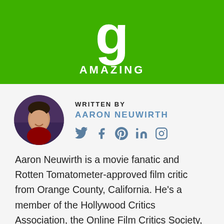[Figure (infographic): Green banner with large white letter 'g' and the word 'AMAZING' in white uppercase letters below it]
[Figure (photo): Circular profile photo of Aaron Neuwirth, a smiling man]
WRITTEN BY
AARON NEUWIRTH
[Figure (infographic): Social media icons: Twitter, Facebook, Pinterest, LinkedIn, Instagram]
Aaron Neuwirth is a movie fanatic and Rotten Tomatometer-approved film critic from Orange County, California. He's a member of the Hollywood Critics Association, the Online Film Critics Society, and the Black Film Critics Circle. As an outgoing person who is always thrilled to discuss movies, he's also a podcaster who has put far too many hours into published audio content associated with film and television. His work has been published at Wad…